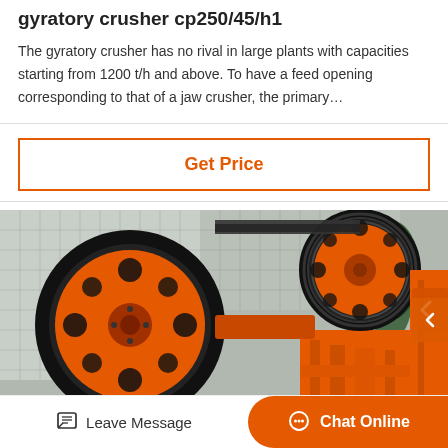gyratory crusher cp250/45/h1
The gyratory crusher has no rival in large plants with capacities starting from 1200 t/h and above. To have a feed opening corresponding to that of a jaw crusher, the primary…
Get Price
[Figure (photo): Orange industrial jaw crusher machine with large black flywheels/pulleys, showing the mechanical components. Machine is orange with black rubber belt wheels, set against a background with a building and trees.]
Leave Message
Chat Online